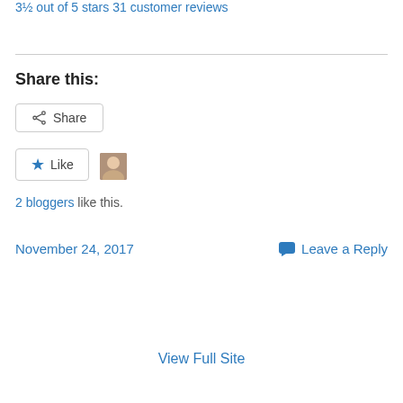3½ out of 5 stars 31 customer reviews
Share this:
Share
Like
2 bloggers like this.
November 24, 2017
Leave a Reply
View Full Site